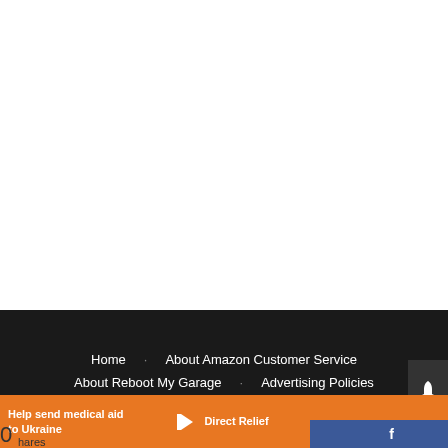Home · About Amazon Customer Service · About Reboot My Garage · Advertising Policies
[Figure (infographic): Orange banner ad: 'Help send medical aid to Ukraine' with Direct Relief logo, Facebook share button, and share icon button]
0 hares